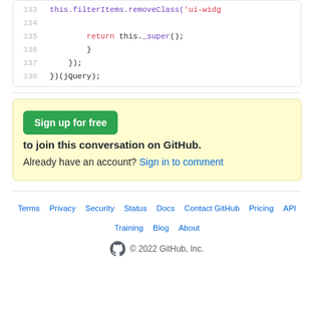[Figure (screenshot): Code block showing lines 133-138 of JavaScript code with syntax highlighting. Line 133: this.filterItems.removeClass('ui-widg...', line 134: empty, line 135: return this._super();, line 136: }, line 137: });, line 138: })(jQuery);]
Sign up for free to join this conversation on GitHub. Already have an account? Sign in to comment
Terms · Privacy · Security · Status · Docs · Contact GitHub · Pricing · API · Training · Blog · About · © 2022 GitHub, Inc.